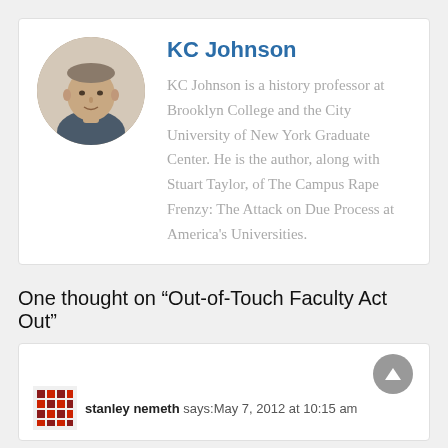[Figure (photo): Circular headshot photo of KC Johnson, a middle-aged man]
KC Johnson
KC Johnson is a history professor at Brooklyn College and the City University of New York Graduate Center. He is the author, along with Stuart Taylor, of The Campus Rape Frenzy: The Attack on Due Process at America's Universities.
One thought on “Out-of-Touch Faculty Act Out”
stanley nemeth says: May 7, 2012 at 10:15 am